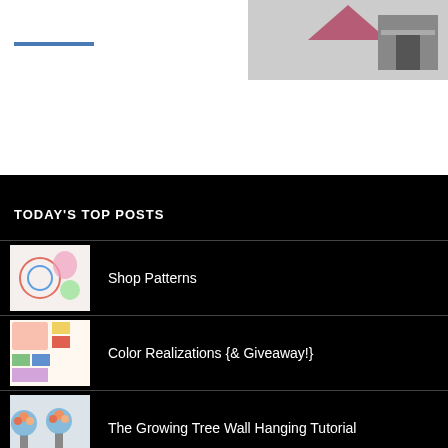TODAY'S TOP POSTS
Shop Patterns
Color Realizations {& Giveaway!}
The Growing Tree Wall Hanging Tutorial
Tutorial: Embroidery Floss Organization Made Easy
Sew Tiny Sampler Pattern Release